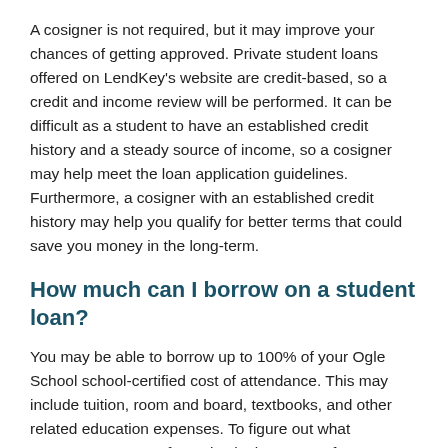A cosigner is not required, but it may improve your chances of getting approved. Private student loans offered on LendKey's website are credit-based, so a credit and income review will be performed. It can be difficult as a student to have an established credit history and a steady source of income, so a cosigner may help meet the loan application guidelines. Furthermore, a cosigner with an established credit history may help you qualify for better terms that could save you money in the long-term.
How much can I borrow on a student loan?
You may be able to borrow up to 100% of your Ogle School school-certified cost of attendance. This may include tuition, room and board, textbooks, and other related education expenses. To figure out what expenses are part of your institution's cost of attendance, check out your school's financial aid